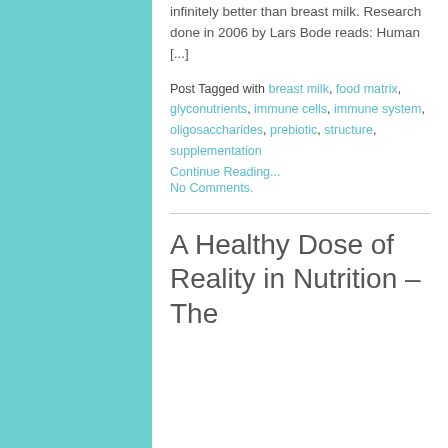infinitely better than breast milk. Research done in 2006 by Lars Bode reads: Human [...]
Post Tagged with breast milk, food matrix, glyconutrients, immune cells, immune system, oligosaccharides, prebiotic, structure, supplementation
Continue Reading...
No Comments.
A Healthy Dose of Reality in Nutrition – The